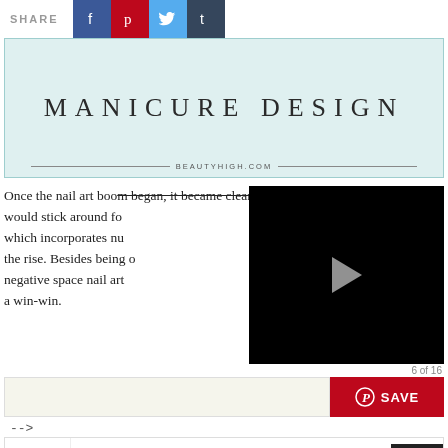SHARE
[Figure (screenshot): Manicure Design banner with light teal background, large serif text reading MANICURE DESIGN, and BEAUTYHIGH.COM at the bottom]
Once the nail art boom began, it became clear that it would stick around for which incorporates nu the rise. Besides being o negative space nail art a win-win.
[Figure (screenshot): Black video player overlay with a grey play button in the center]
6 of 16
[Figure (screenshot): Save bar with light background on left and red Pinterest Save button on right]
-->
[Figure (screenshot): Advertisement for Dental Care Burke with logo, text Stress Free Dental Visits and Open button]